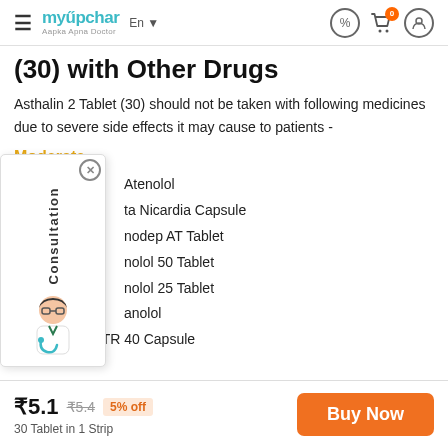myUpchar - Aapka Apna Doctor | En | (header navigation)
(30) with Other Drugs
Asthalin 2 Tablet (30) should not be taken with following medicines due to severe side effects it may cause to patients -
Moderate
Atenolol
ta Nicardia Capsule
nodep AT Tablet
nolol 50 Tablet
nolol 25 Tablet
anolol
• Betacap TR 40 Capsule
₹5.1  ₹5.4  5% off  30 Tablet in 1 Strip  Buy Now